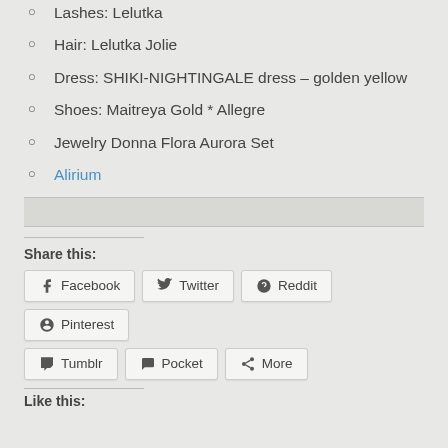Lashes: Lelutka
Hair: Lelutka Jolie
Dress: SHIKI-NIGHTINGALE dress – golden yellow
Shoes: Maitreya Gold * Allegre
Jewelry Donna Flora Aurora Set
Alirium
Share this:
Facebook Twitter Reddit Pinterest Tumblr Pocket More
Like this: